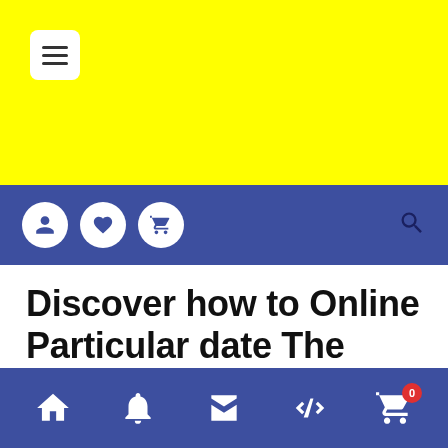[Figure (screenshot): Yellow header bar with hamburger menu icon in white box]
Navigation bar with user, heart, cart icons on left and search icon on right
Discover how to Online Particular date The Way You Would definitely On A Genuine Date
Bottom navigation bar with home, bell, store, percent, and cart (0) icons